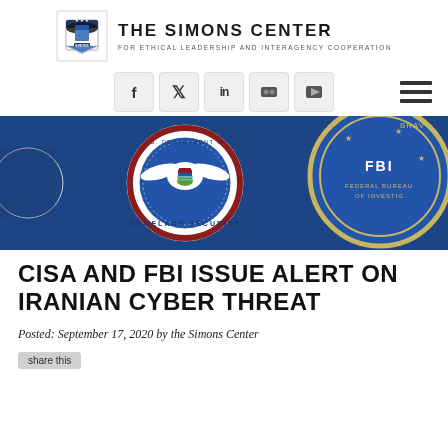[Figure (logo): The Simons Center for Ethical Leadership and Interagency Cooperation logo with eagle crest emblem]
[Figure (infographic): Row of social media icons (Facebook, Twitter, LinkedIn, Flickr, YouTube) in grey boxes, with hamburger menu icon on the right]
[Figure (photo): Close-up photo of Department of Homeland Security and Federal Bureau of Investigation official seals on a blue background]
CISA AND FBI ISSUE ALERT ON IRANIAN CYBER THREAT
Posted: September 17, 2020 by the Simons Center